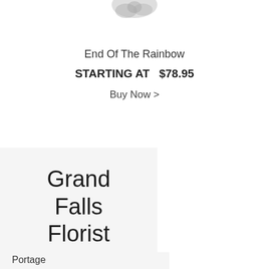[Figure (photo): Partial view of a floral arrangement at the top of the page, cropped]
End Of The Rainbow
STARTING AT  $78.95
Buy Now >
Grand Falls Florist LTD
65
Portage